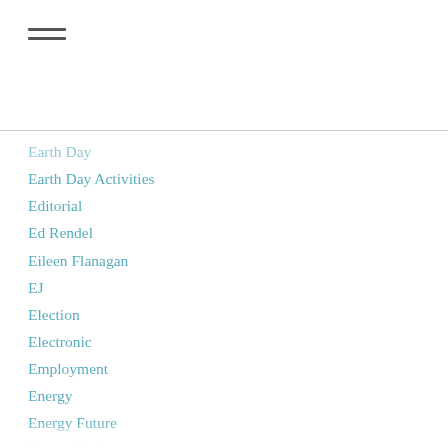Earth Day
Earth Day Activities
Editorial
Ed Rendel
Eileen Flanagan
EJ
Election
Electronic
Employment
Energy
Energy Future
Energy Hub
Environment
EPA
EQAR
EQAT
Evangelical Environmental Network
Eve Andrews